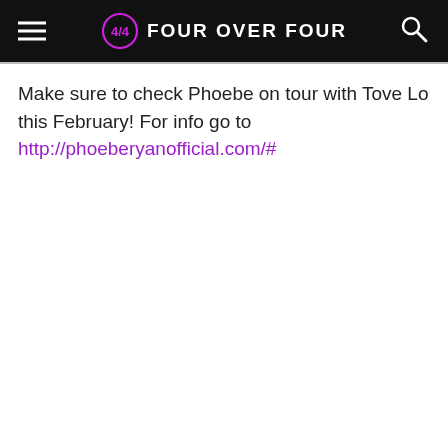FOUR OVER FOUR
Make sure to check Phoebe on tour with Tove Lo this February! For info go to http://phoeberyanofficial.com/#